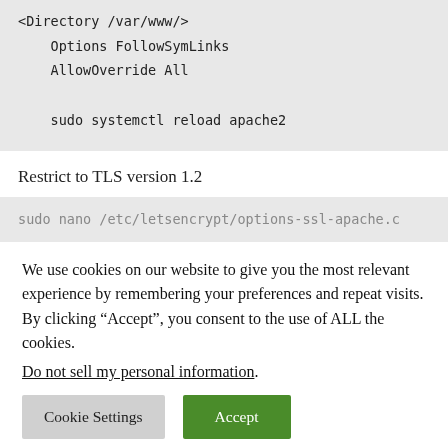<Directory /var/www/>
    Options FollowSymLinks
    AllowOverride All

    sudo systemctl reload apache2
Restrict to TLS version 1.2
sudo nano /etc/letsencrypt/options-ssl-apache.c
We use cookies on our website to give you the most relevant experience by remembering your preferences and repeat visits. By clicking “Accept”, you consent to the use of ALL the cookies.
Do not sell my personal information.